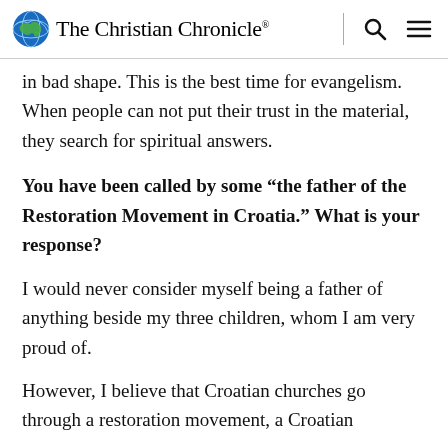The Christian Chronicle®
in bad shape. This is the best time for evangelism. When people can not put their trust in the material, they search for spiritual answers.
You have been called by some “the father of the Restoration Movement in Croatia.” What is your response?
I would never consider myself being a father of anything beside my three children, whom I am very proud of.
However, I believe that Croatian churches go through a restoration movement, a Croatian